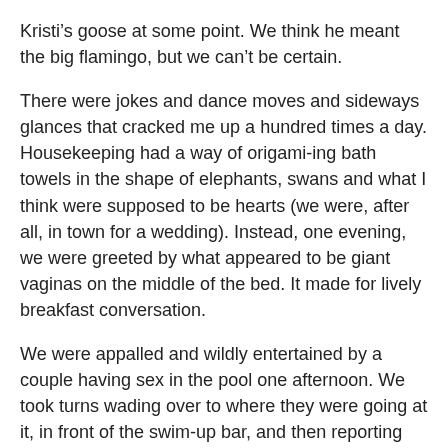Kristi's goose at some point. We think he meant the big flamingo, but we can't be certain.
There were jokes and dance moves and sideways glances that cracked me up a hundred times a day. Housekeeping had a way of origami-ing bath towels in the shape of elephants, swans and what I think were supposed to be hearts (we were, after all, in town for a wedding). Instead, one evening, we were greeted by what appeared to be giant vaginas on the middle of the bed. It made for lively breakfast conversation.
We were appalled and wildly entertained by a couple having sex in the pool one afternoon. We took turns wading over to where they were going at it, in front of the swim-up bar, and then reporting back on their “pillow talk.” We learned they were each married to someone else, she liked it from behind and holy shit why are we in this water with them?! We frequented the other pools after that.